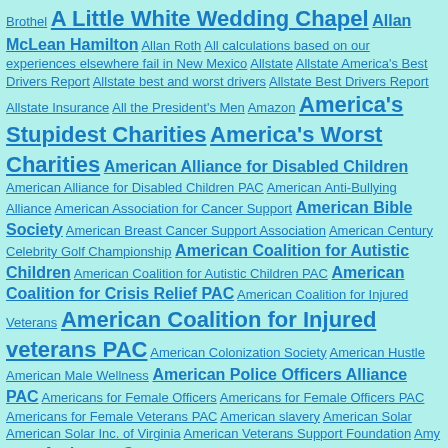Brothel A Little White Wedding Chapel Allan McLean Hamilton Allan Roth All calculations based on our experiences elsewhere fail in New Mexico Allstate Allstate America's Best Drivers Report Allstate best and worst drivers Allstate Best Drivers Report Allstate Insurance All the President's Men Amazon America's Stupidest Charities America's Worst Charities American Alliance for Disabled Children American Alliance for Disabled Children PAC American Anti-Bullying Alliance American Association for Cancer Support American Bible Society American Breast Cancer Support Association American Century Celebrity Golf Championship American Coalition for Autistic Children American Coalition for Autistic Children PAC American Coalition for Crisis Relief PAC American Coalition for Injured Veterans American Coalition for Injured veterans PAC American Colonization Society American Hustle American Male Wellness American Police Officers Alliance PAC Americans for Female Officers Americans for Female Officers PAC Americans for Female Veterans PAC American slavery American Solar American Solar Inc. of Virginia American Veterans Support Foundation Amy Trapp Anderson Cooper Andrea Constand Andre Agassi Andrew Cherng Andrew J. Ceresney Andrew Jackson Andrew Redlow Andrew Stefanides Andrew W. Mellon Auditorium Andrey Kukushkin Andy Bautista Angela Leslie Angelina Jolie Angelo Errichetti ANI Ann-Margret Anna Clark Annette Bening Ann Margrat Anthony Fauci Anthony S. Fauci Anthony Spilotro Anthony Stango AR Hedge ARHedge Apple Area 51 Arizona bark scorpion Armenia election